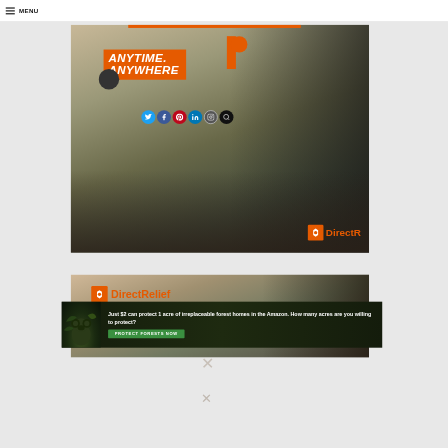MENU
[Figure (photo): Direct Relief ad banner showing person in black jacket with 'ANYTIME. ANYWHERE.' text on orange background, disaster scene in background]
[Figure (infographic): Direct Relief logo banner at top of second ad]
[Figure (infographic): Amazon forest conservation ad: 'Just $2 can protect 1 acre of irreplaceable forest homes in the Amazon. How many acres are you willing to protect?' with PROTECT FORESTS NOW button and monkey image]